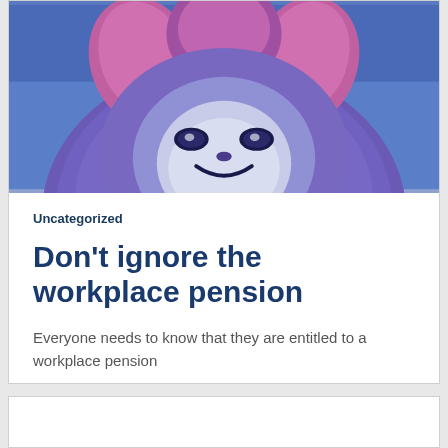[Figure (illustration): A fluffy purple monster character viewed from the front/slightly below, with pink-tipped fur on top, smiling face, against a blue background. Only the upper body is visible as the image is cropped.]
Uncategorized
Don't ignore the workplace pension
Everyone needs to know that they are entitled to a workplace pension